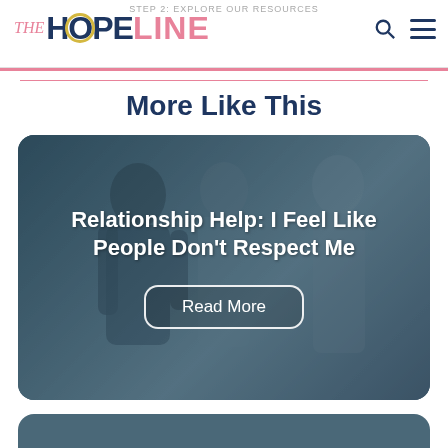STEP 2: EXPLORE OUR RESOURCES
[Figure (logo): The HopeLine logo with dark navy HOPE text and pink LINE text]
More Like This
[Figure (photo): Article card with photo of young people walking together, overlaid with title text: Relationship Help: I Feel Like People Don't Respect Me, and a Read More button]